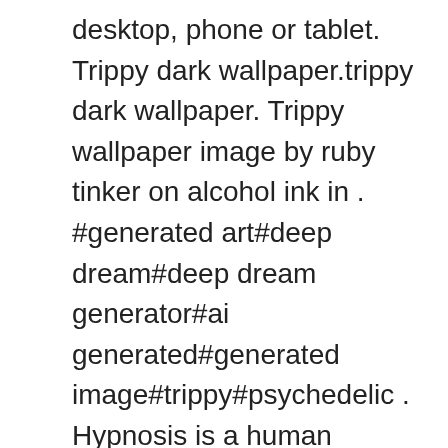desktop, phone or tablet. Trippy dark wallpaper.trippy dark wallpaper. Trippy wallpaper image by ruby tinker on alcohol ink in . #generated art#deep dream#deep dream generator#ai generated#generated image#trippy#psychedelic . Hypnosis is a human condition involving focused attention, reduced peripheral awareness, and an enhanced . Graham & brown 15195 superfresco easy trippy wallpaper, orange. Browse millions of popular psychedelic wallpapers and ringtones on zedge and . Wallpaper psychedelic · ancient art, background, cosmos, dark. Download and discover more similar hd wallpaper on wallpapertip. Artistic psychedelic colors bright trippy rainbow hd wallpaper | background image. 17720 · ancient art background · fractal, art, paint,